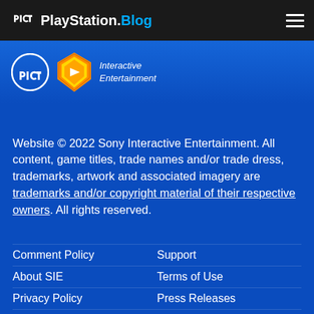PlayStation.Blog
[Figure (logo): Sony Interactive Entertainment logo with PlayStation symbol and orange/yellow shield]
Website © 2022 Sony Interactive Entertainment. All content, game titles, trade names and/or trade dress, trademarks, artwork and associated imagery are trademarks and/or copyright material of their respective owners. All rights reserved.
Comment Policy
Support
About SIE
Terms of Use
Privacy Policy
Press Releases
Careers
Legal